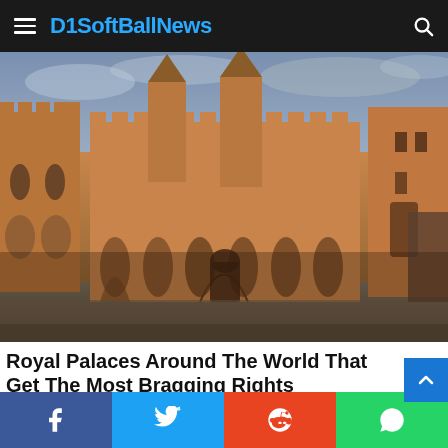D1SoftBallNews
[Figure (photo): Exterior view of a large medieval stone castle/palace with tall towers, crenellated battlements, arched colonnades, and pointed Gothic spires, photographed from below against a cloudy sky at golden hour.]
Royal Palaces Around The World That Get The Most Bragging Rights
BRAINBERRIES